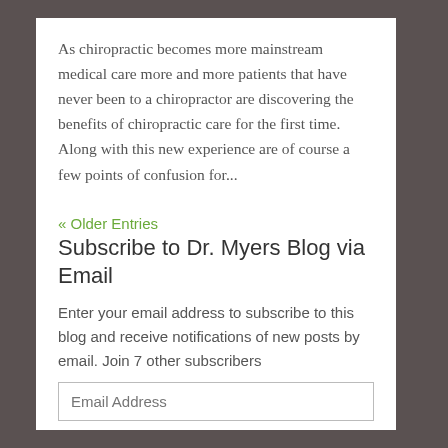As chiropractic becomes more mainstream medical care more and more patients that have never been to a chiropractor are discovering the benefits of chiropractic care for the first time.  Along with this new experience are of course a few points of confusion for...
« Older Entries
Subscribe to Dr. Myers Blog via Email
Enter your email address to subscribe to this blog and receive notifications of new posts by email. Join 7 other subscribers